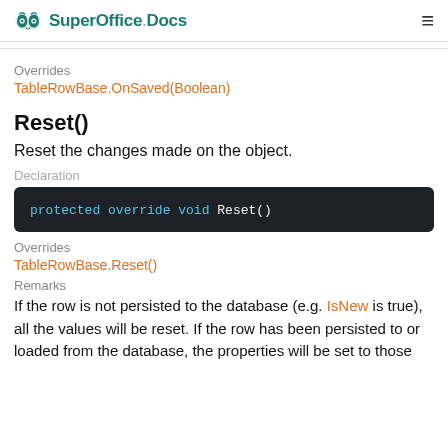SuperOffice.Docs
Overrides
TableRowBase.OnSaved(Boolean)
Reset()
Reset the changes made on the object.
Declaration
protected override void Reset()
Overrides
TableRowBase.Reset()
Remarks
If the row is not persisted to the database (e.g. IsNew is true), all the values will be reset. If the row has been persisted to or loaded from the database, the properties will be set to those of the last persisted values below.